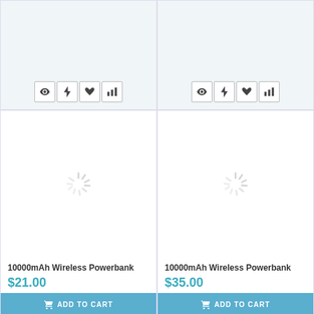[Figure (screenshot): E-commerce product grid showing two product cards for '10000mAh Wireless Powerbank'. Left card priced at $21.00, right card at $35.00. Each card has action icons (eye, lightning, heart, bar chart), a loading spinner placeholder image, product name, price in teal, and a blue 'ADD TO CART' button. Top and bottom rows show partial cards with icon buttons.]